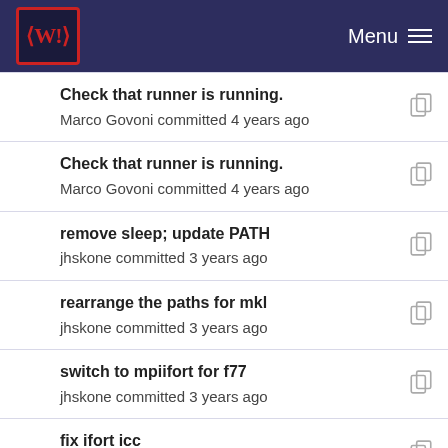<W!> Menu
Check that runner is running.
Marco Govoni committed 4 years ago
Check that runner is running.
Marco Govoni committed 4 years ago
remove sleep; update PATH
jhskone committed 3 years ago
rearrange the paths for mkl
jhskone committed 3 years ago
switch to mpiifort for f77
jhskone committed 3 years ago
fix ifort icc
jhskone committed 3 years ago
switch to mpiifort for f77
jhskone committed 3 years ago
update compiler vars for config script to use intel